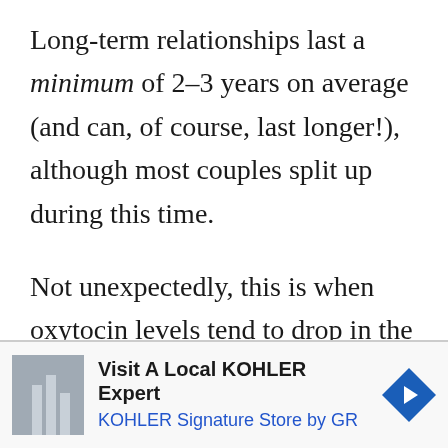Long-term relationships last a minimum of 2-3 years on average (and can, of course, last longer!), although most couples split up during this time.
Not unexpectedly, this is when oxytocin levels tend to drop in the relationship, and they become less enamored with each other. They can
Visit A Local KOHLER Expert
KOHLER Signature Store by GR